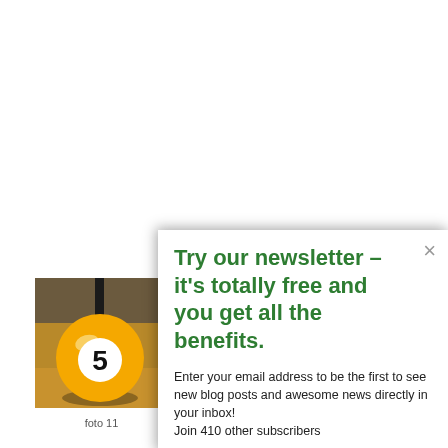[Figure (photo): Photo of a yellow billiard ball numbered 5 on a wooden surface with a blurred background]
foto 11
Try our newsletter – it's totally free and you get all the benefits.
Enter your email address to be the first to see new blog posts and awesome news directly in your inbox! Join 410 other subscribers